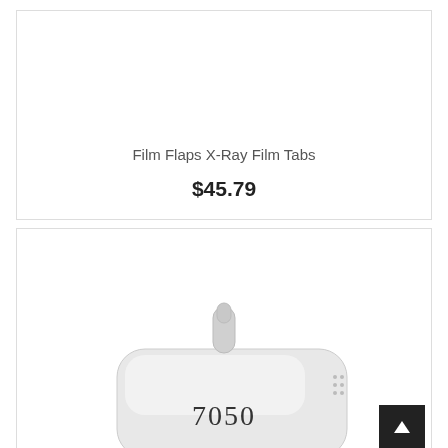Film Flaps X-Ray Film Tabs
$45.79
[Figure (photo): Medical/dental device product with a nozzle tip visible, labeled '7050', white/grey plastic product shown from above at an angle.]